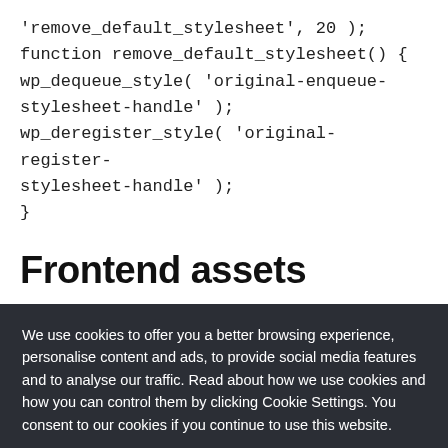'remove_default_stylesheet', 20 );
function remove_default_stylesheet() {
wp_dequeue_style( 'original-enqueue-stylesheet-handle' );
wp_deregister_style( 'original-register-stylesheet-handle' );
}
Frontend assets
We use cookies to offer you a better browsing experience, personalise content and ads, to provide social media features and to analyse our traffic. Read about how we use cookies and how you can control them by clicking Cookie Settings. You consent to our cookies if you continue to use this website.
Cookie settings   Accept co